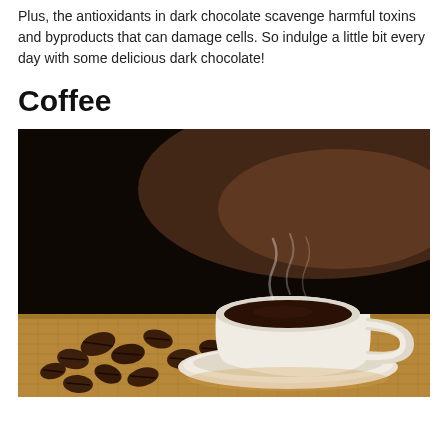Plus, the antioxidants in dark chocolate scavenge harmful toxins and byproducts that can damage cells. So indulge a little bit every day with some delicious dark chocolate!
Coffee
[Figure (photo): A steaming white cup of black coffee on a saucer surrounded by scattered coffee beans on a burlap surface, with a dark moody background.]